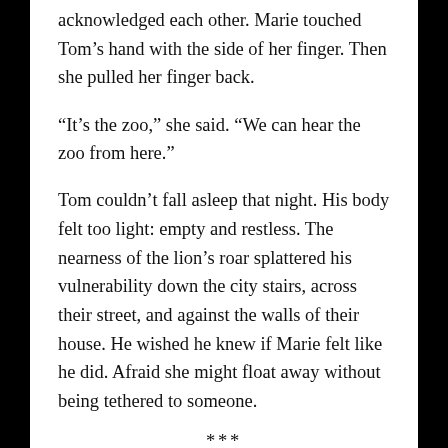acknowledged each other. Marie touched Tom's hand with the side of her finger. Then she pulled her finger back.
“It’s the zoo,” she said. “We can hear the zoo from here.”
Tom couldn’t fall asleep that night. His body felt too light: empty and restless. The nearness of the lion’s roar splattered his vulnerability down the city stairs, across their street, and against the walls of their house. He wished he knew if Marie felt like he did. Afraid she might float away without being tethered to someone.
***
It got cold quickly after the housewarming party, and their radiators clanked loudly, forcing hot water through old lead pipes. Marie was in the kitchen waxing her legs when Tom heard the mail slot open